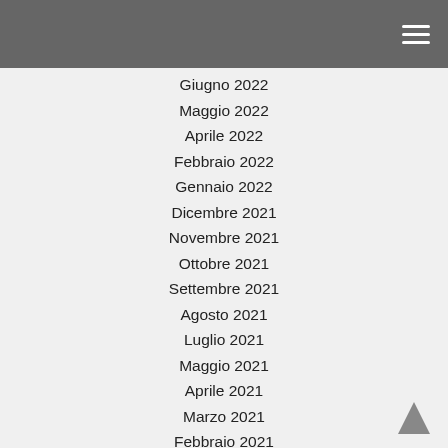Giugno 2022
Maggio 2022
Aprile 2022
Febbraio 2022
Gennaio 2022
Dicembre 2021
Novembre 2021
Ottobre 2021
Settembre 2021
Agosto 2021
Luglio 2021
Maggio 2021
Aprile 2021
Marzo 2021
Febbraio 2021
Dicembre 2020
Novembre 2020
Ottobre 2020
Settembre 2020
Agosto 2020